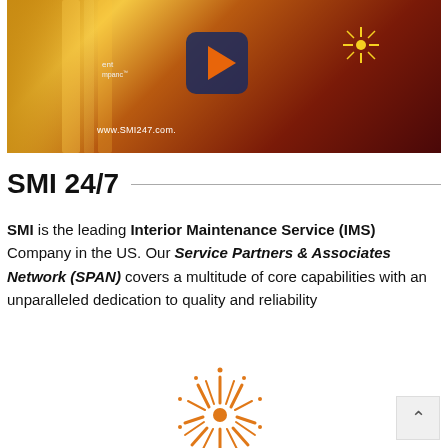[Figure (screenshot): Video thumbnail showing a warm golden/orange toned image with a play button icon in the center, text overlay showing 'www.SMI247.com' and partial text, with a starburst effect on the right side]
SMI 24/7
SMI is the leading Interior Maintenance Service (IMS) Company in the US. Our Service Partners & Associates Network (SPAN) covers a multitude of core capabilities with an unparalleled dedication to quality and reliability
[Figure (logo): SMI sunburst/radiant logo in orange and gold colors]